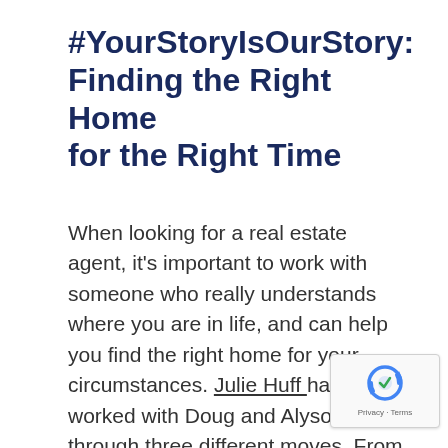#YourStoryIsOurStory: Finding the Right Home for the Right Time
When looking for a real estate agent, it's important to work with someone who really understands where you are in life, and can help you find the right home for your circumstances. Julie Huff has worked with Doug and Alyson through three different moves. From Doug's bachelor pad to their first family home, and most recently, a new spot for their expanding family. After sharing so
[Figure (logo): reCAPTCHA badge with circular arrow logo and Privacy - Terms text]